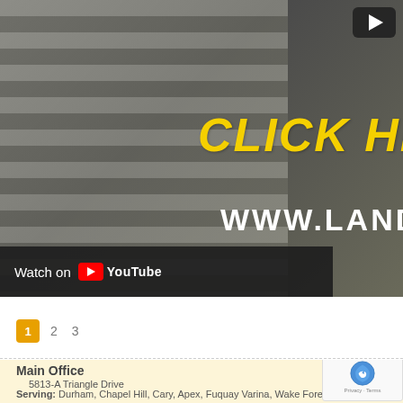[Figure (screenshot): YouTube video thumbnail showing a building with horizontal slats, overlaid with bold italic yellow 'CLICK HERE' text, white 'WWW.LANDA.COM' text, a play button in top right corner, and a 'Watch on YouTube' bar at the bottom left.]
1  2  3
Main Office
5813-A Triangle Drive
Raleigh, NC 27617

919-788-0267
Serving: Durham, Chapel Hill, Cary, Apex, Fuquay Varina, Wake Forest,